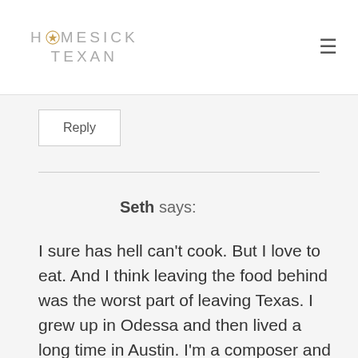HOMESICK TEXAN
Reply
Seth says:
I sure has hell can't cook. But I love to eat. And I think leaving the food behind was the worst part of leaving Texas. I grew up in Odessa and then lived a long time in Austin. I'm a composer and a performer and New